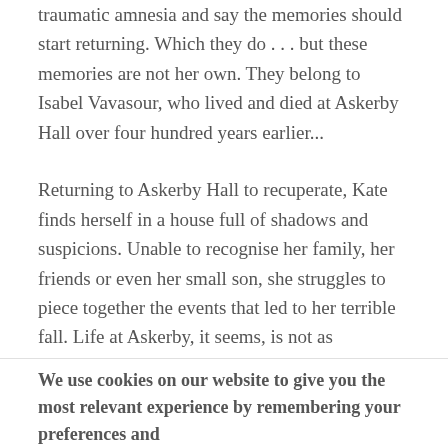traumatic amnesia and say the memories should start returning. Which they do . . . but these memories are not her own. They belong to Isabel Vavasour, who lived and died at Askerby Hall over four hundred years earlier...
Returning to Askerby Hall to recuperate, Kate finds herself in a house full of shadows and suspicions. Unable to recognise her family, her friends or even her small son, she struggles to piece together the events that led to her terrible fall. Life at Askerby, it seems, is not as illustrious as the Vavasours would have the public believe. But before she can uncover the mysteries of the present, she must first discover the truth about
We use cookies on our website to give you the most relevant experience by remembering your preferences and